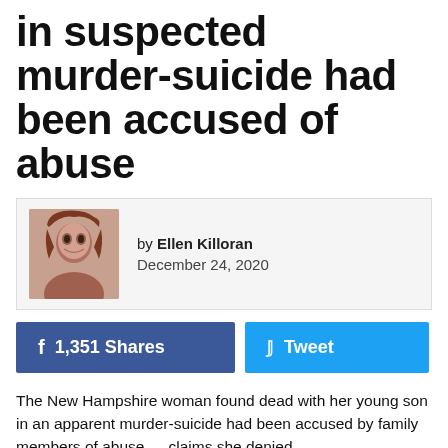in suspected murder-suicide had been accused of abuse
by Ellen Killoran
December 24, 2020
[Figure (other): Facebook share button showing 1,351 Shares and Twitter Tweet button]
The New Hampshire woman found dead with her young son in an apparent murder-suicide had been accused by family members of abuse — claims she denied.
As CrimeOnline previously reported, Mercedes Tremblay, 25, and her 2-year-old son Mason Tremblay were found dead at a Manchester home on on December 14. Authorities have said